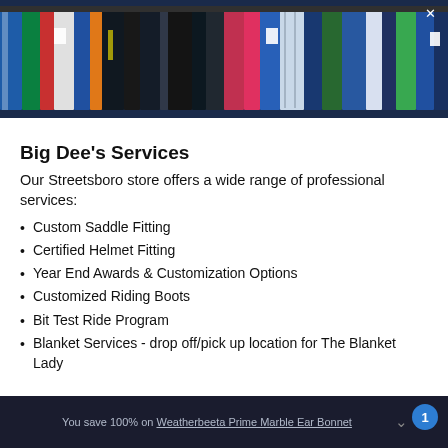[Figure (photo): Row of colorful horse blankets/rugs hanging on a rack, showing various colors including blue, red, white, green, orange and more.]
Big Dee's Services
Our Streetsboro store offers a wide range of professional services:
Custom Saddle Fitting
Certified Helmet Fitting
Year End Awards & Customization Options
Customized Riding Boots
Bit Test Ride Program
Blanket Services - drop off/pick up location for The Blanket Lady
You save 100% on Weatherbeeta Prime Marble Ear Bonnet